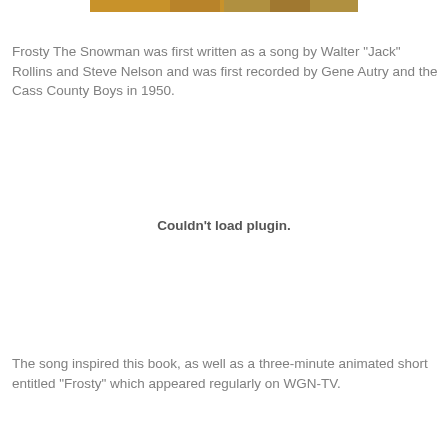[Figure (illustration): A partial horizontal image strip at the top, showing colored illustration fragments (orange/gold tones), likely part of a book cover or decorative banner.]
Frosty The Snowman was first written as a song by Walter "Jack" Rollins and Steve Nelson and was first recorded by Gene Autry and the Cass County Boys in 1950.
Couldn't load plugin.
The song inspired this book, as well as a three-minute animated short entitled "Frosty" which appeared regularly on WGN-TV.